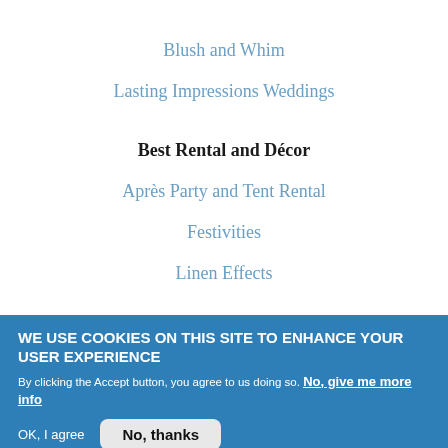Blush and Whim
Lasting Impressions Weddings
Best Rental and Décor
Après Party and Tent Rental
Festivities
Linen Effects
WE USE COOKIES ON THIS SITE TO ENHANCE YOUR USER EXPERIENCE
By clicking the Accept button, you agree to us doing so. No, give me more info
OK, I agree   No, thanks